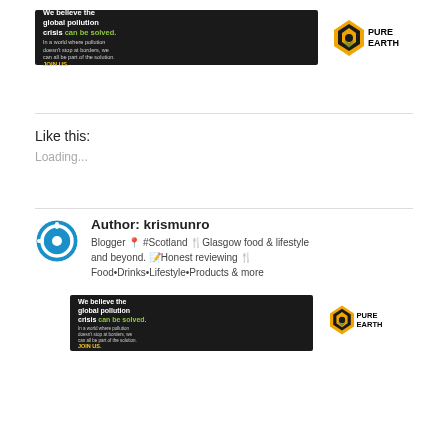[Figure (other): Pure Earth advertisement banner (top) - black background with text 'We believe the global pollution crisis can be solved.' and Pure Earth logo]
Like this:
Loading...
Author: krismunro
Blogger 📍 #Scotland 🍴Glasgow food & lifestyle and beyond. 📝Honest reviewing 🍴 Food•Drinks•Lifestyle•Products & more
[Figure (other): Pure Earth advertisement banner (bottom) - black background with text 'We believe the global pollution crisis can be solved.' and Pure Earth logo]